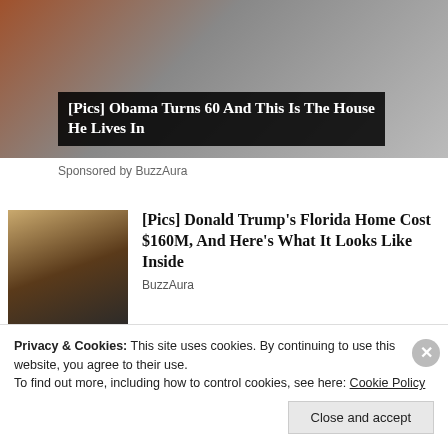[Figure (photo): Top banner image with dark overlay title: [Pics] Obama Turns 60 And This Is The House He Lives In]
Sponsored by BuzzAura
[Figure (photo): Thumbnail photo of Donald Trump and Melania Trump]
[Pics] Donald Trump's Florida Home Cost $160M, And Here's What It Looks Like Inside
BuzzAura
[Figure (photo): Thumbnail photo of John Travolta kissing someone on the cheek]
[Photos] At 67, John Travolta Is Living In This House With His Partner.
Privacy & Cookies: This site uses cookies. By continuing to use this website, you agree to their use.
To find out more, including how to control cookies, see here: Cookie Policy